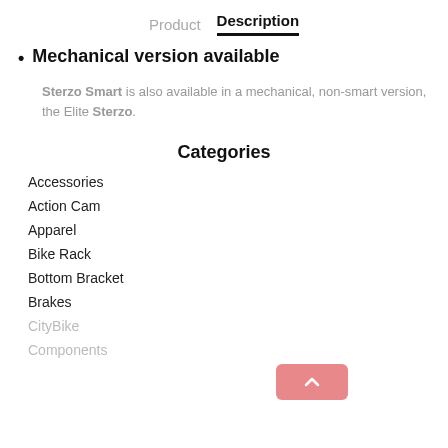Product   Description
Mechanical version available
Sterzo Smart is also available in a mechanical, non-smart version, the Elite Sterzo.
Categories
Accessories
Action Cam
Apparel
Bike Rack
Bottom Bracket
Brakes
CityBike
Components